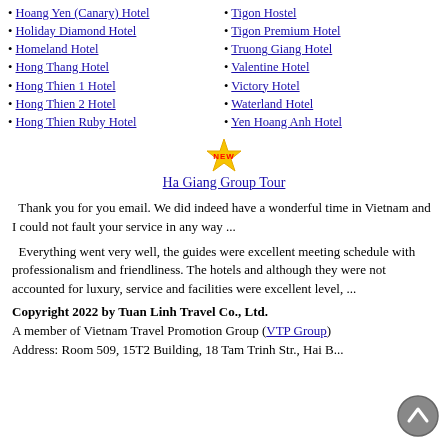• Hoang Yen (Canary) Hotel
• Holiday Diamond Hotel
• Homeland Hotel
• Hong Thang Hotel
• Hong Thien 1 Hotel
• Hong Thien 2 Hotel
• Hong Thien Ruby Hotel
• Tigon Hostel
• Tigon Premium Hotel
• Truong Giang Hotel
• Valentine Hotel
• Victory Hotel
• Waterland Hotel
• Yen Hoang Anh Hotel
[Figure (illustration): NEW starburst badge icon]
Ha Giang Group Tour
Thank you for you email. We did indeed have a wonderful time in Vietnam and I could not fault your service in any way ...
Everything went very well, the guides were excellent meeting schedule with professionalism and friendliness. The hotels and although they were not accounted for luxury, service and facilities were excellent level, ...
Copyright 2022 by Tuan Linh Travel Co., Ltd. A member of Vietnam Travel Promotion Group (VTP Group). Address: Room 509, 15T2 Building, 18 Tam Trinh Str., Hai B...